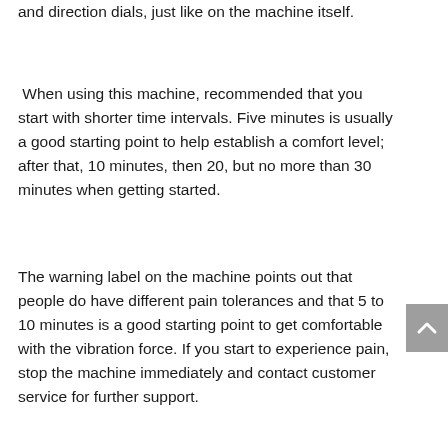and direction dials, just like on the machine itself.
When using this machine, recommended that you start with shorter time intervals. Five minutes is usually a good starting point to help establish a comfort level; after that, 10 minutes, then 20, but no more than 30 minutes when getting started.
The warning label on the machine points out that people do have different pain tolerances and that 5 to 10 minutes is a good starting point to get comfortable with the vibration force. If you start to experience pain, stop the machine immediately and contact customer service for further support.